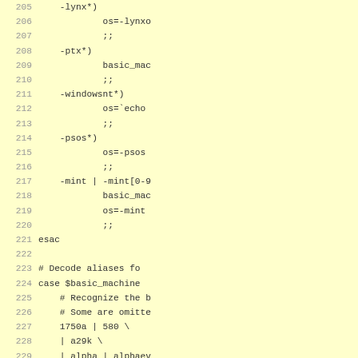[Figure (other): Source code listing showing shell script case statement for OS detection, lines 205-232, on yellow background]